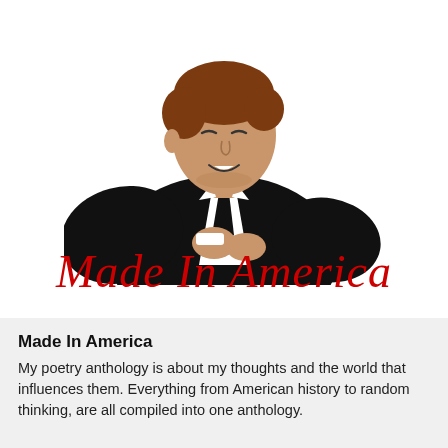[Figure (illustration): Cartoon illustration of a man in a black suit with a white shirt and black tie, leaning forward with hands clasped, resembling JFK or a political figure. Brown hair, light skin tone, drawn in a simple comic style.]
Made In America
Made In America
My poetry anthology is about my thoughts and the world that influences them. Everything from American history to random thinking, are all compiled into one anthology.